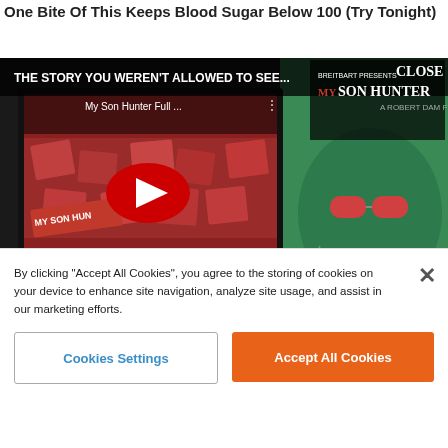One Bite Of This Keeps Blood Sugar Below 100 (Try Tonight)
[Figure (screenshot): Breitbart 'My Son Hunter' movie promotional image with embedded YouTube video player showing 'My Son Hunter Full...' title, play button, watch the trailer text, pre-order now button, coming Sept 7, mysonhunter.com watermark, and man with red sunglasses smoking on green background]
By clicking “Accept All Cookies”, you agree to the storing of cookies on your device to enhance site navigation, analyze site usage, and assist in our marketing efforts.
Cookies Settings
Accept All Cookies